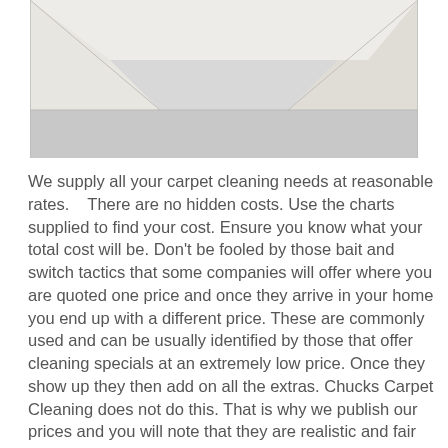[Figure (photo): Interior view of a room corner showing light grey carpet and off-white walls]
We supply all your carpet cleaning needs at reasonable rates.    There are no hidden costs. Use the charts supplied to find your cost. Ensure you know what your total cost will be. Don't be fooled by those bait and switch tactics that some companies will offer where you are quoted one price and once they arrive in your home you end up with a different price. These are commonly used and can be usually identified by those that offer cleaning specials at an extremely low price. Once they show up they then add on all the extras. Chucks Carpet Cleaning does not do this. That is why we publish our prices and you will note that they are realistic and fair prices. Our prices are complete and we are not going to surprise you when we get there with increased costs. We have NO hidden charges! You can calculate the cost and decide exactly what you want.